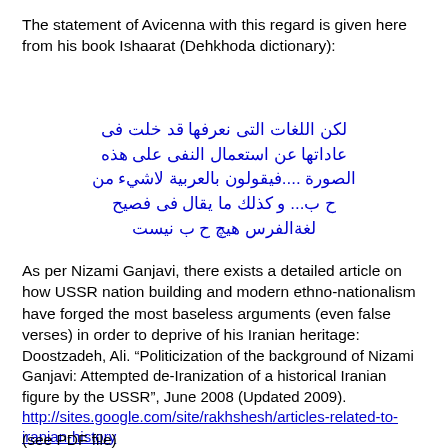The statement of Avicenna with this regard is given here from his book Ishaarat (Dehkhoda dictionary):
لكن اللغات التى نعرفها قد خلت فى عاداتها عن استعمال النفى على هذه الصورة ....فيقولون بالعربية لاشيء من ح ب... و كذلك ما يقال فى فصيح لغةالفرس هيچ ح ب نيست
As per Nizami Ganjavi, there exists a detailed article on how USSR nation building and modern ethno-nationalism have forged the most baseless arguments (even false verses) in order to deprive of his Iranian heritage:
Doostzadeh, Ali. "Politicization of the background of Nizami Ganjavi: Attempted de-Iranization of a historical Iranian figure by the USSR", June 2008 (Updated 2009). http://sites.google.com/site/rakhshesh/articles-related-to-iranian-history
(see PDF file)